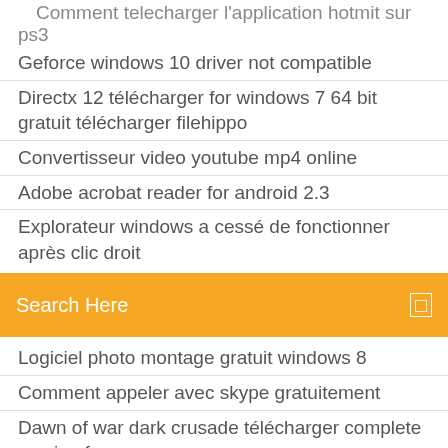Comment telecharger l'application hotmit sur ps3
Geforce windows 10 driver not compatible
Directx 12 télécharger for windows 7 64 bit gratuit télécharger filehippo
Convertisseur video youtube mp4 online
Adobe acrobat reader for android 2.3
Explorateur windows a cessé de fonctionner après clic droit
[Figure (screenshot): Orange search bar with text 'Search Here' and a search icon on the right]
Logiciel photo montage gratuit windows 8
Comment appeler avec skype gratuitement
Dawn of war dark crusade télécharger complete version free
Jeux de poids lourds gratuit
Regarder la tv sur macbook pro
Application pour telecharger des films streaming
Black ops 2 gratuit map packs ps3
Comment telecharger power point gratuitement sur pc
Cortar video movie maker windows 10